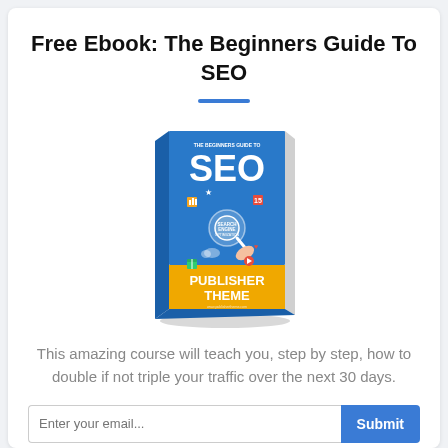Free Ebook: The Beginners Guide To SEO
[Figure (illustration): 3D book cover showing 'SEO - The Beginners Guide To SEO' with blue cover featuring a hand holding a magnifying glass with 'Search Engine Optimization' text, surrounded by digital marketing icons, and a yellow bottom band reading 'Publisher Theme']
This amazing course will teach you, step by step, how to double if not triple your traffic over the next 30 days.